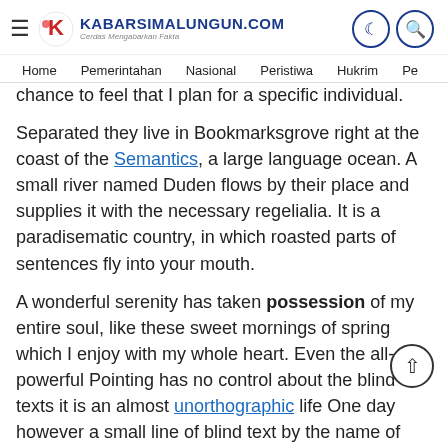≡ KABARSIMALUNGUN.COM Ganda Mengabarkan Fakta | Home | Pemerintahan | Nasional | Peristiwa | Hukrim | Pe
chance to feel that I plan for a specific individual.
Separated they live in Bookmarksgrove right at the coast of the Semantics, a large language ocean. A small river named Duden flows by their place and supplies it with the necessary regelialia. It is a paradisematic country, in which roasted parts of sentences fly into your mouth.
A wonderful serenity has taken possession of my entire soul, like these sweet mornings of spring which I enjoy with my whole heart. Even the all-powerful Pointing has no control about the blind texts it is an almost unorthographic life One day however a small line of blind text by the name of Lorem Ipsum decided to leave for the far World of Grammar.